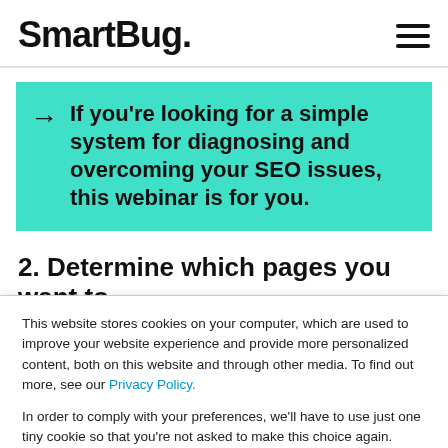SmartBug.
If you're looking for a simple system for diagnosing and overcoming your SEO issues, this webinar is for you.
2. Determine which pages you want to
This website stores cookies on your computer, which are used to improve your website experience and provide more personalized content, both on this website and through other media. To find out more, see our Privacy Policy.

In order to comply with your preferences, we'll have to use just one tiny cookie so that you're not asked to make this choice again.
Accept
No Thanks